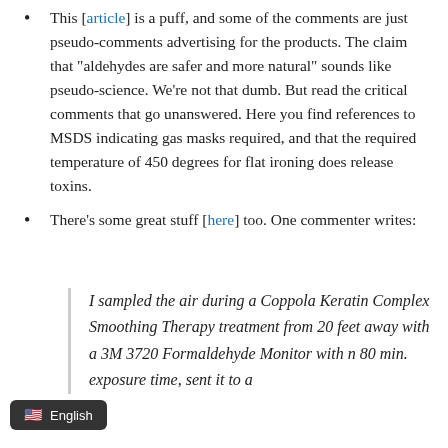This [article] is a puff, and some of the comments are just pseudo-comments advertising for the products. The claim that "aldehydes are safer and more natural" sounds like pseudo-science. We're not that dumb. But read the critical comments that go unanswered. Here you find references to MSDS indicating gas masks required, and that the required temperature of 450 degrees for flat ironing does release toxins.
There's some great stuff [here] too. One commenter writes:
I sampled the air during a Coppola Keratin Complex Smoothing Therapy treatment from 20 feet away with a 3M 3720 Formaldehyde Monitor with n 80 min. exposure time, sent it to a